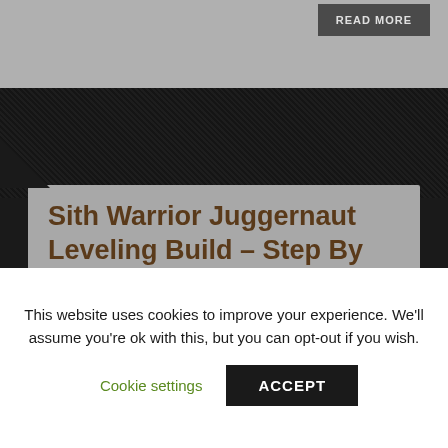READ MORE
Sith Warrior Juggernaut Leveling Build – Step By Step Point Allocation
February 13, 2012   Soeren Kamper
This website uses cookies to improve your experience. We'll assume you're ok with this, but you can opt-out if you wish.
Cookie settings
ACCEPT